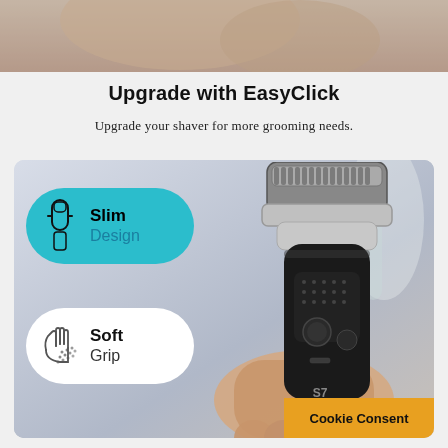[Figure (photo): Close-up photo of a person holding/using a Braun electric shaver near their face, cropped to show hands and lower face]
Upgrade with EasyClick
Upgrade your shaver for more grooming needs.
[Figure (photo): Product photo of Braun Series 7 (S7) electric shaver being held in a hand, with two feature badges overlaid: 'Slim Design' on a teal rounded rectangle with shaver icon, and 'Soft Grip' on a white rounded rectangle with hand/texture icon. A 'Cookie Consent' orange banner appears in the bottom-right corner.]